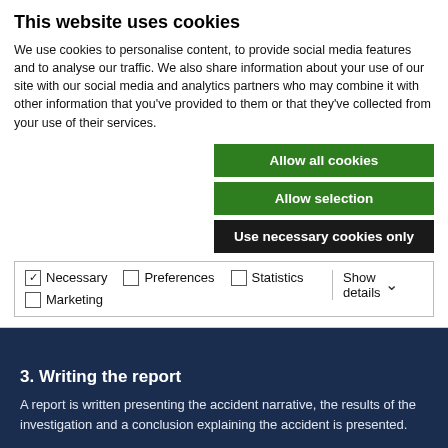This website uses cookies
We use cookies to personalise content, to provide social media features and to analyse our traffic. We also share information about your use of our site with our social media and analytics partners who may combine it with other information that you've provided to them or that they've collected from your use of their services.
Allow all cookies
Allow selection
Use necessary cookies only
Necessary  Preferences  Statistics  Marketing  Show details
3. Writing the report
A report is written presenting the accident narrative, the results of the investigation and a conclusion explaining the accident is presented.